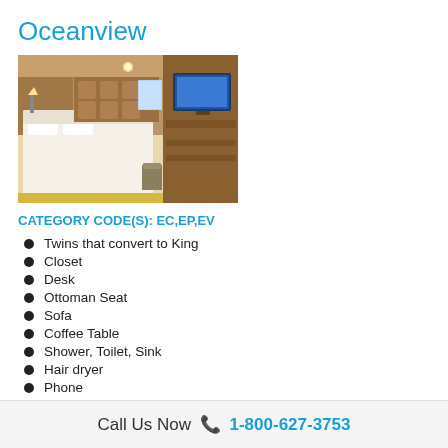Oceanview
[Figure (photo): Cruise ship oceanview cabin interior with double bed, warm lighting, wall-mounted TV, desk area and sofa]
CATEGORY CODE(S): EC,EP,EV
Twins that convert to King
Closet
Desk
Ottoman Seat
Sofa
Coffee Table
Shower, Toilet, Sink
Hair dryer
Phone
Call Us Now 📞 1-800-627-3753